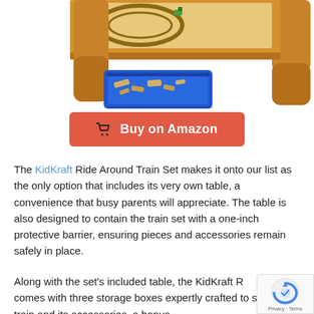[Figure (photo): Partial view of a KidKraft wooden train table with orange/brown wood finish, featuring an elevated play surface and a blue plastic storage tray/bin pulled out at the bottom containing train pieces]
[Figure (other): Red 'Buy on Amazon' button with shopping cart icon]
The KidKraft Ride Around Train Set makes it onto our list as the only option that includes its very own table, a convenience that busy parents will appreciate. The table is also designed to contain the train set with a one-inch protective barrier, ensuring pieces and accessories remain safely in place.
Along with the set's included table, the KidKraft Ride Around comes with three storage boxes expertly crafted to sort the train and its accessories, a bonus